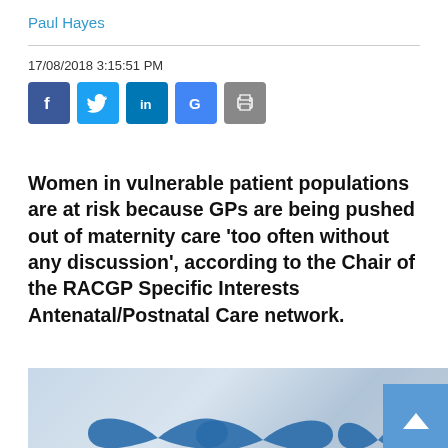Paul Hayes
17/08/2018 3:15:51 PM
[Figure (other): Social media share icons: Facebook, Twitter, LinkedIn, Google+, Print]
Women in vulnerable patient populations are at risk because GPs are being pushed out of maternity care ‘too often without any discussion’, according to the Chair of the RACGP Specific Interests Antenatal/Postnatal Care network.
[Figure (photo): Partial image showing blue heart shapes on a light blue/grey background, with a blue scroll-to-top button in the bottom right corner.]